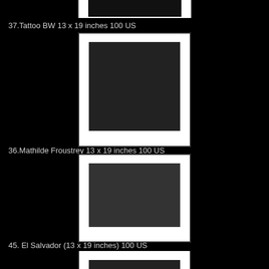[Figure (photo): Framed black and white photograph, partially clipped at top of page]
37.Tattoo BW 13 x 19 inches 100 US
[Figure (photo): Framed black and white photograph of a dancer performing, labeled Mathilde Froustrey]
36.Mathilde Froustrey 13 x 19 inches 100 US
[Figure (photo): Framed black and white photograph of a person playing guitar, El Salvador]
45. El Salvador (13 x 19 inches) 100 US
[Figure (photo): Framed black and white photograph, partially clipped at bottom of page]